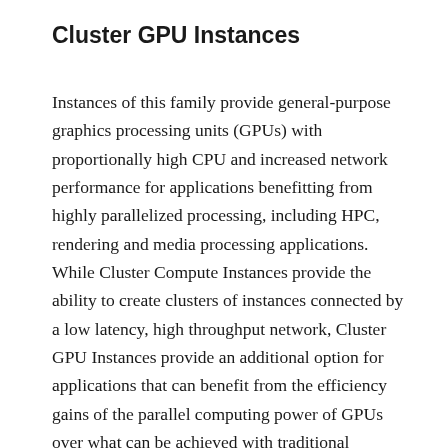Cluster GPU Instances
Instances of this family provide general-purpose graphics processing units (GPUs) with proportionally high CPU and increased network performance for applications benefitting from highly parallelized processing, including HPC, rendering and media processing applications. While Cluster Compute Instances provide the ability to create clusters of instances connected by a low latency, high throughput network, Cluster GPU Instances provide an additional option for applications that can benefit from the efficiency gains of the parallel computing power of GPUs over what can be achieved with traditional processors. Learn more about use of